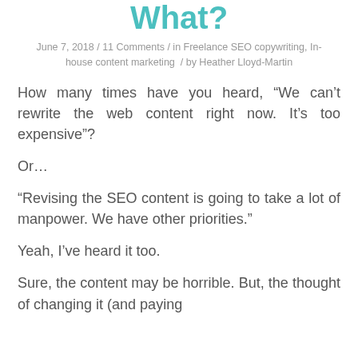What?
June 7, 2018 / 11 Comments / in Freelance SEO copywriting, In-house content marketing / by Heather Lloyd-Martin
How many times have you heard, “We can’t rewrite the web content right now. It’s too expensive”?
Or…
“Revising the SEO content is going to take a lot of manpower. We have other priorities.”
Yeah, I’ve heard it too.
Sure, the content may be horrible. But, the thought of changing it (and paying